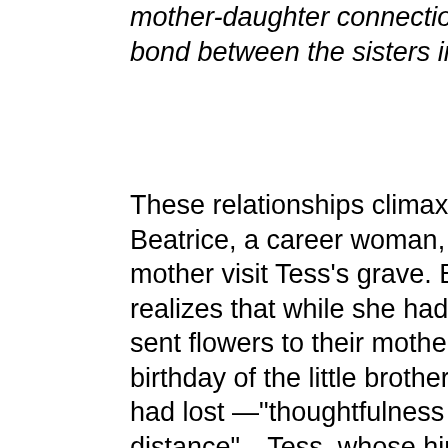mother-daughter connection and the bond between the sisters interact?
These relationships climax when Beatrice, a career woman, and her mother visit Tess's grave. Beatrice realizes that while she had always sent flowers to their mother on the birthday of the little brother, Leo, they had lost —"thoughtfulness at a distance"—Tess, whose hippie London lifestyle Beatrice had deplored, had always come to see her mother on those sad birthdays. Seeing her mother become the "mum of babyhood" again through Tess's eyes opens a whole new